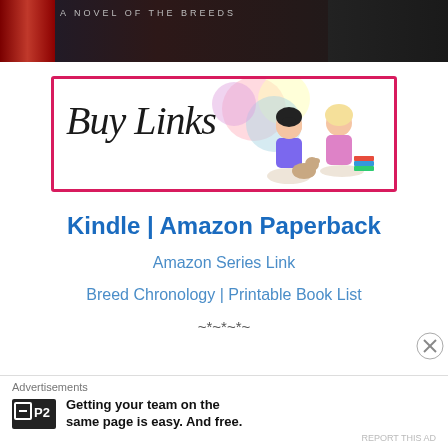[Figure (illustration): Book banner at top showing 'A NOVEL OF THE BREEDS' text on dark background]
[Figure (illustration): Buy Links banner with pink/magenta border, cursive 'Buy Links' text, colorful circle decorations, and two cartoon women sitting with books and wine]
Kindle | Amazon Paperback
Amazon Series Link
Breed Chronology | Printable Book List
~*~*~*~
Advertisements
Getting your team on the same page is easy. And free.